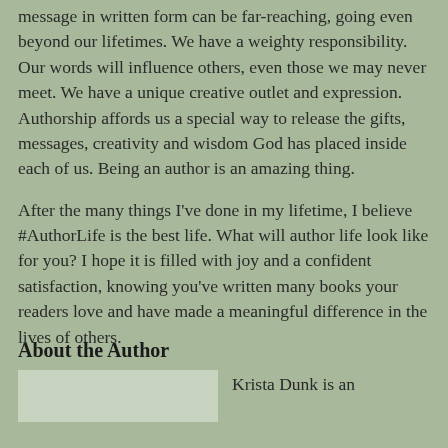message in written form can be far-reaching, going even beyond our lifetimes. We have a weighty responsibility. Our words will influence others, even those we may never meet. We have a unique creative outlet and expression. Authorship affords us a special way to release the gifts, messages, creativity and wisdom God has placed inside each of us. Being an author is an amazing thing.
After the many things I've done in my lifetime, I believe #AuthorLife is the best life. What will author life look like for you? I hope it is filled with joy and a confident satisfaction, knowing you've written many books your readers love and have made a meaningful difference in the lives of others.
About the Author
Krista Dunk is an